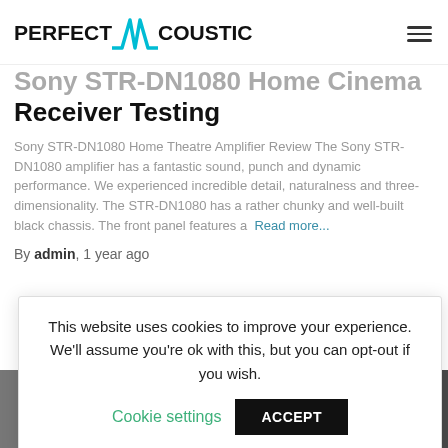PERFECT ACOUSTIC
Sony STR-DN1080 Home Cinema Receiver Testing
Sony STR-DN1080 Home Theatre Amplifier Review The Sony STR-DN1080 amplifier has a fantastic sound, punch and dynamic performance. We experienced incredible detail, naturalness and three-dimensionality. The STR-DN1080 has a rather chunky and well-built black chassis. The front panel features a  Read more...
By admin, 1 year ago
This website uses cookies to improve your experience. We'll assume you're ok with this, but you can opt-out if you wish.
Cookie settings  ACCEPT
[Figure (photo): Photo strip at the bottom of the page showing audio equipment]